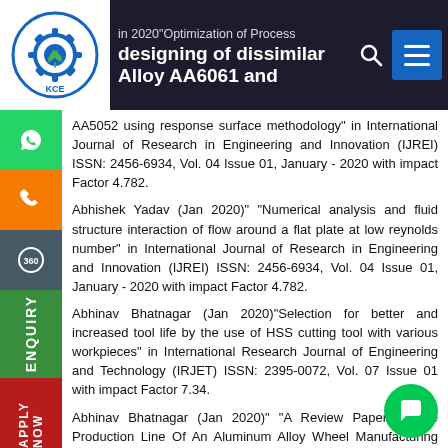in 2020 Optimization of Process | [search] [menu]
AA5052 using response surface methodology" in International Journal of Research in Engineering and Innovation (IJREI) ISSN: 2456-6934, Vol. 04 Issue 01, January - 2020 with impact Factor 4.782.
Abhishek Yadav (Jan 2020)" "Numerical analysis and fluid structure interaction of flow around a flat plate at low reynolds number" in International Journal of Research in Engineering and Innovation (IJREI) ISSN: 2456-6934, Vol. 04 Issue 01, January - 2020 with impact Factor 4.782.
Abhinav Bhatnagar (Jan 2020)"Selection for better and increased tool life by the use of HSS cutting tool with various workpieces" in International Research Journal of Engineering and Technology (IRJET) ISSN: 2395-0072, Vol. 07 Issue 01 with impact Factor 7.34.
Abhinav Bhatnagar (Jan 2020)" "A Review Paper on the Production Line Of An Aluminum Alloy Wheel Manufacturing Industry And To Improve The Quality Of Production Using